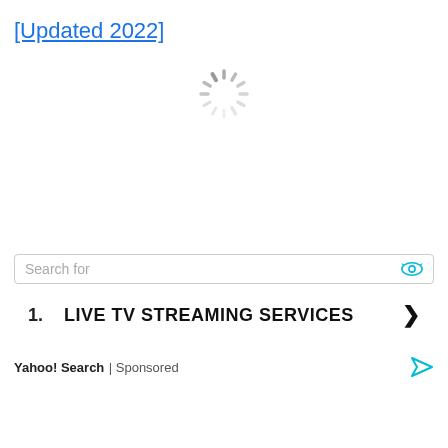[Updated 2022]
[Figure (other): Loading spinner / activity indicator — a circular dashed spinner graphic indicating content is loading]
Search for
1. LIVE TV STREAMING SERVICES
Yahoo! Search | Sponsored